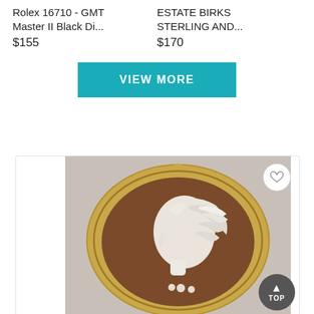Rolex 16710 - GMT Master II Black Di...
$155
ESTATE BIRKS STERLING AND...
$170
VIEW MORE
[Figure (photo): Antique gold-framed cameo brooch/pendant featuring a white shell carving of a woman's profile in side view on a brown background, with a small bail at the top for hanging.]